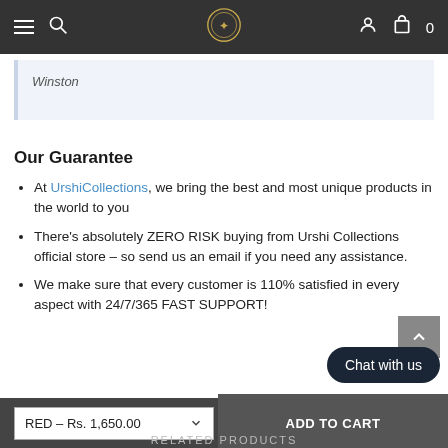Navigation bar with menu, search, logo, user icon, cart (0)
Winston
Our Guarantee
At UrshiCollections, we bring the best and most unique products in the world to you
There's absolutely ZERO RISK buying from Urshi Collections official store - so send us an email if you need any assistance.
We make sure that every customer is 110% satisfied in every aspect with 24/7/365 FAST SUPPORT!
RED - Rs. 1,650.00   ADD TO CART   RELATED PRODUCTS